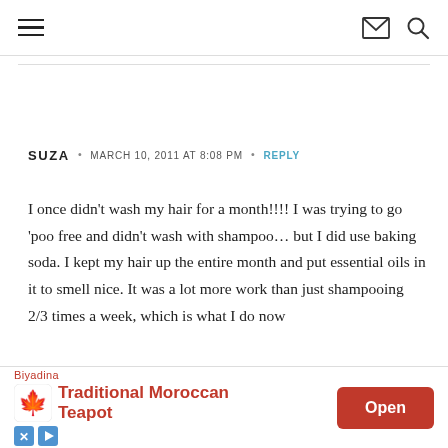Navigation header with hamburger menu, mail icon, and search icon
SUZA • MARCH 10, 2011 AT 8:08 PM • REPLY
I once didn't wash my hair for a month!!!! I was trying to go 'poo free and didn't wash with shampoo… but I did use baking soda. I kept my hair up the entire month and put essential oils in it to smell nice. It was a lot more work than just shampooing 2/3 times a week, which is what I do now
[Figure (screenshot): Advertisement banner for Biyadina Traditional Moroccan Teapot with Open button]